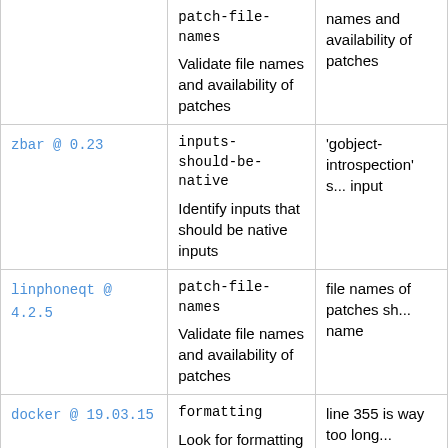| Package | Check | Details |
| --- | --- | --- |
| (continued) | patch-file-names
Validate file names and availability of patches | names and availability of patches |
| zbar @ 0.23 | inputs-should-be-native
Identify inputs that should be native inputs | 'gobject-introspection' s... input |
| linphoneqt @ 4.2.5 | patch-file-names
Validate file names and availability of patches | file names of patches sh... name |
| docker @ 19.03.15 | formatting
Look for formatting issues in the source | line 355 is way too long... |